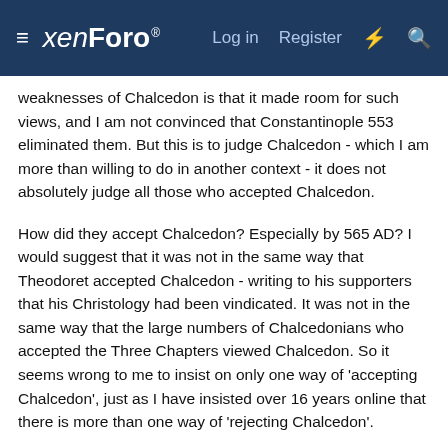≡ xenForo® | Log in | Register | ⚡ | 🔍
weaknesses of Chalcedon is that it made room for such views, and I am not convinced that Constantinople 553 eliminated them. But this is to judge Chalcedon - which I am more than willing to do in another context - it does not absolutely judge all those who accepted Chalcedon.
How did they accept Chalcedon? Especially by 565 AD? I would suggest that it was not in the same way that Theodoret accepted Chalcedon - writing to his supporters that his Christology had been vindicated. It was not in the same way that the large numbers of Chalcedonians who accepted the Three Chapters viewed Chalcedon. So it seems wrong to me to insist on only one way of 'accepting Chalcedon', just as I have insisted over 16 years online that there is more than one way of 'rejecting Chalcedon'.
When I read John of Damascus it seems to me that there are not very many differences between the Church he is a member of and the Orthodox Church I am a member of. Yet he does